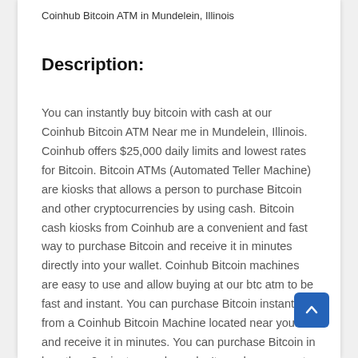Coinhub Bitcoin ATM in Mundelein, Illinois
Description:
You can instantly buy bitcoin with cash at our Coinhub Bitcoin ATM Near me in Mundelein, Illinois. Coinhub offers $25,000 daily limits and lowest rates for Bitcoin. Bitcoin ATMs (Automated Teller Machine) are kiosks that allows a person to purchase Bitcoin and other cryptocurrencies by using cash. Bitcoin cash kiosks from Coinhub are a convenient and fast way to purchase Bitcoin and receive it in minutes directly into your wallet. Coinhub Bitcoin machines are easy to use and allow buying at our btc atm to be fast and instant. You can purchase Bitcoin instantly from a Coinhub Bitcoin Machine located near you and receive it in minutes. You can purchase Bitcoin in less than 2 minutes, and you don't need an account. To purchase